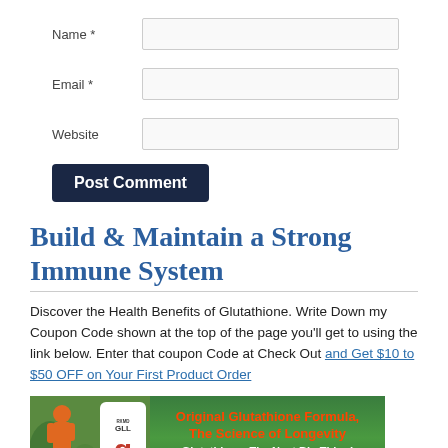Name *
Email *
Website
Post Comment
Build & Maintain a Strong Immune System
Discover the Health Benefits of Glutathione. Write Down my Coupon Code shown at the top of the page you'll get to using the link below. Enter that coupon Code at Check Out and Get $10 to $50 OFF on Your First Product Order
[Figure (infographic): Advertisement banner for Glutathione supplement product showing a runner in orange shirt outdoors, a white supplement bottle, with text 'Original Glutathione Formula, The Science of Longevity' in red/orange, 'Glutathione: The Next Big Thing!' in white, and an orange 'LEARN MORE' button.]
[Figure (logo): Partial view of HCG text logo in large bold black letters inside a bordered box.]